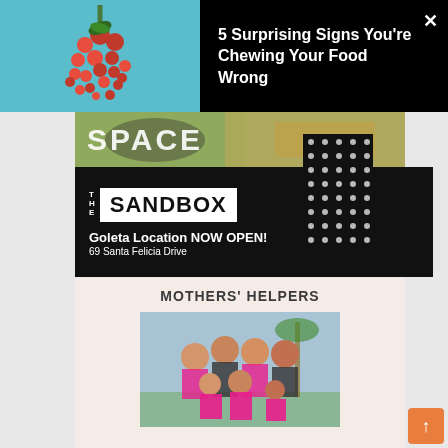[Figure (screenshot): Top advertisement banner with black background. Left half shows red berries/fruit on light blue background. Right half has white bold text: '5 Surprising Signs You're Chewing Your Food Wrong'. Close X button top right.]
[Figure (screenshot): Middle strip showing food/market image with text 'SPACE' overlaid in large white letters.]
[Figure (advertisement): The Sandbox advertisement on black background. Logo shows 'THE SANDBOX' in white box. Text: 'Goleta Location NOW OPEN!' and '69 Santa Felicia Drive'. Dot pattern decoration on right side.]
[Figure (screenshot): Mothers' Helpers card on light pink/beige background. Title 'MOTHERS\' HELPERS' in uppercase. Photo shows group of women and children wearing pink aprons outdoors with palm trees.]